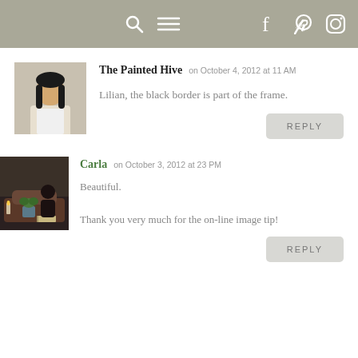Navigation header with search, menu, Facebook, Pinterest, Instagram icons
The Painted Hive on October 4, 2012 at 11 AM
Lilian, the black border is part of the frame.
REPLY
Carla on October 3, 2012 at 23 PM
Beautiful.
Thank you very much for the on-line image tip!
REPLY